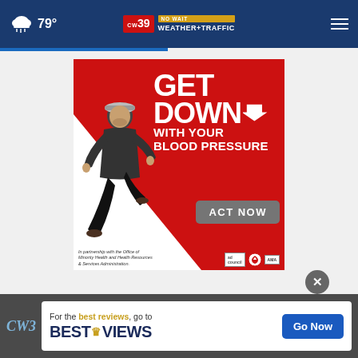79° | CW39 NO WAIT WEATHER+TRAFFIC
[Figure (illustration): Advertisement banner: GET DOWN WITH YOUR BLOOD PRESSURE - ACT NOW. In partnership with the Office of Minority Health and Health Resources & Services Administration. Shows a man jumping/running on a red and white background with logos for ad council, American Heart Association, and AMA.]
[Figure (illustration): BestReviews advertisement banner: For the best reviews, go to BESTREVIEWS with a Go Now button]
CW3 | For the best reviews, go to BESTREVIEWS | Go Now